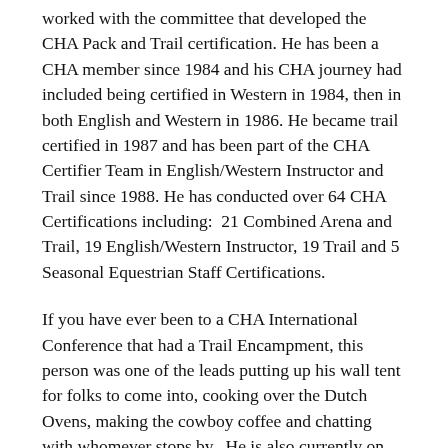worked with the committee that developed the CHA Pack and Trail certification. He has been a CHA member since 1984 and his CHA journey had included being certified in Western in 1984, then in both English and Western in 1986. He became trail certified in 1987 and has been part of the CHA Certifier Team in English/Western Instructor and Trail since 1988. He has conducted over 64 CHA Certifications including:  21 Combined Arena and Trail, 19 English/Western Instructor, 19 Trail and 5 Seasonal Equestrian Staff Certifications.
If you have ever been to a CHA International Conference that had a Trail Encampment, this person was one of the leads putting up his wall tent for folks to come into, cooking over the Dutch Ovens, making the cowboy coffee and chatting with whomever stops by.  He is also currently on the home page of our website, www.CHA.horse and on the cover of our CHA Trail Manual packing mules in the Bob Marshall wilderness.  Thank you Stan for all of your